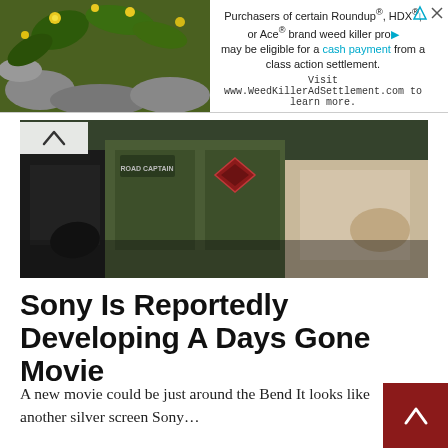[Figure (other): Advertisement banner for Roundup/HDX/Ace weed killer class action settlement with plant image on left and text on right]
[Figure (photo): Screenshot/photo showing people wearing military or scout-style uniforms with patches and badges]
Sony Is Reportedly Developing A Days Gone Movie
A new movie could be just around the Bend It looks like another silver screen Sony…
READ MORE...